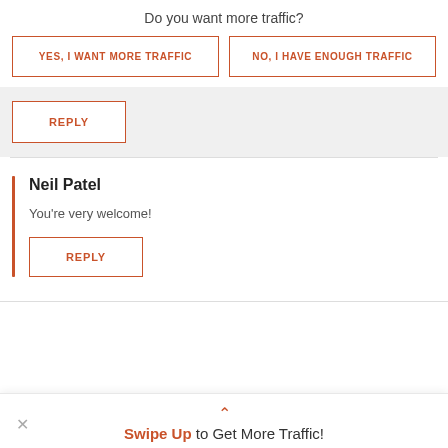Do you want more traffic?
YES, I WANT MORE TRAFFIC
NO, I HAVE ENOUGH TRAFFIC
REPLY
Neil Patel
You're very welcome!
REPLY
Swipe Up to Get More Traffic!